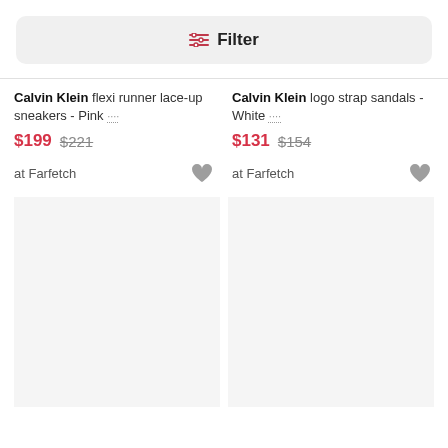Filter
Calvin Klein flexi runner lace-up sneakers - Pink ...
$199 $221
at Farfetch
Calvin Klein logo strap sandals - White ...
$131 $154
at Farfetch
[Figure (other): Empty product image placeholder left]
[Figure (other): Empty product image placeholder right]